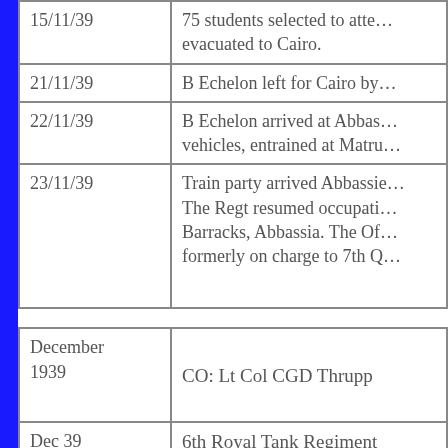| Date | Event |
| --- | --- |
| 15/11/39 | 75 students selected to atte… evacuated to Cairo. |
| 21/11/39 | B Echelon left for Cairo by… |
| 22/11/39 | B Echelon arrived at Abbas… vehicles, entrained at Matru… |
| 23/11/39 | Train party arrived Abbassie… The Regt resumed occupati… Barracks, Abbassia. The Of… formerly on charge to 7th Q… |
| Date | Event |
| --- | --- |
| December 1939 | CO: Lt Col CGD Thrupp |
| Dec 39 | 6th Royal Tank Regiment |
| 1 - 20 | Cairo
Taking over peace time acco…
RHQ Sqn was partially form…
barrack rooms. OC HQ Sqn… |